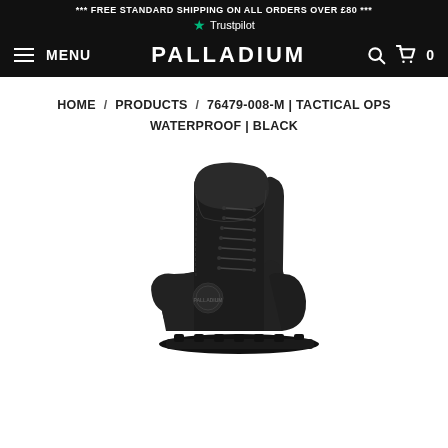*** FREE STANDARD SHIPPING ON ALL ORDERS OVER £80 ***
Trustpilot
MENU  PALLADIUM  0
HOME / PRODUCTS / 76479-008-M | TACTICAL OPS WATERPROOF | BLACK
[Figure (photo): Palladium Tactical Ops Waterproof boot in black. A tall lace-up ankle boot with a foldover collar, black rubber lug sole, and a circular brand badge on the ankle. Shown in profile on a white background.]